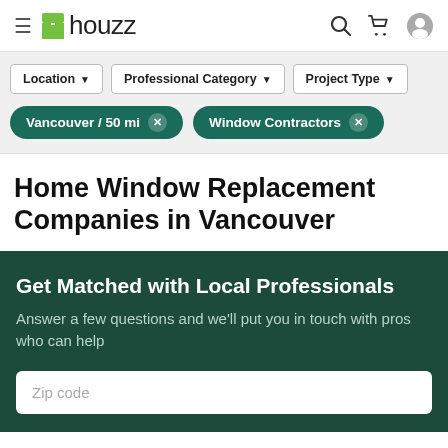houzz
Location ▼   Professional Category ▼   Project Type ▼
Vancouver / 50 mi ✕   Window Contractors ✕
Home Window Replacement Companies in Vancouver
Get Matched with Local Professionals
Answer a few questions and we'll put you in touch with pros who can help
Zip code